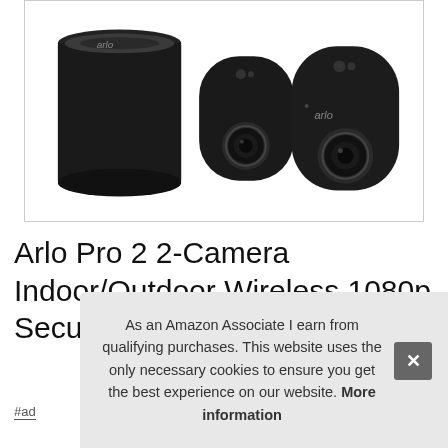[Figure (photo): Product photo of Arlo Pro 2 security camera system: a cylindrical base station and two black oval-shaped wireless cameras with camera lenses, on white background.]
Arlo Pro 2 2-Camera Indoor/Outdoor Wireless 1080p Security Camera Sy
#ad
As an Amazon Associate I earn from qualifying purchases. This website uses the only necessary cookies to ensure you get the best experience on our website. More information